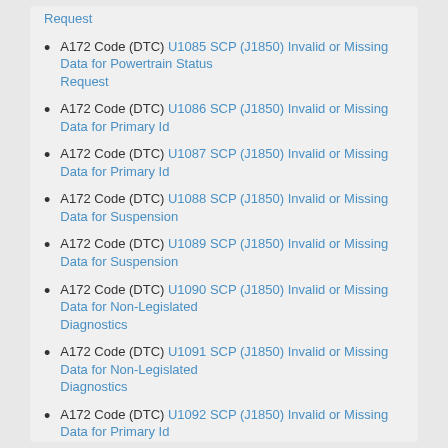A172 Code (DTC) U1085 SCP (J1850) Invalid or Missing Data for Powertrain Status Request
A172 Code (DTC) U1086 SCP (J1850) Invalid or Missing Data for Primary Id
A172 Code (DTC) U1087 SCP (J1850) Invalid or Missing Data for Primary Id
A172 Code (DTC) U1088 SCP (J1850) Invalid or Missing Data for Suspension
A172 Code (DTC) U1089 SCP (J1850) Invalid or Missing Data for Suspension
A172 Code (DTC) U1090 SCP (J1850) Invalid or Missing Data for Non-Legislated Diagnostics
A172 Code (DTC) U1091 SCP (J1850) Invalid or Missing Data for Non-Legislated Diagnostics
A172 Code (DTC) U1092 SCP (J1850) Invalid or Missing Data for Primary Id
A172 Code (DTC) U1093 SCP (J1850) Invalid or Missing Data for Primary Id